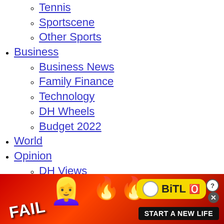Tennis
Sportscene
Other Sports
Business
Business News
Family Finance
Technology
DH Wheels
Budget 2022
World
Opinion
DH Views
Editorials
Panorama
Comment
In Perspective
Right in the Middle
Metrolife
Your Bond With Bengaluru
Cityscape
On The Move
Lifestyle
[Figure (screenshot): BitLife advertisement banner with red/fire background, FAIL text, animated character, and 'START A NEW LIFE' tagline]